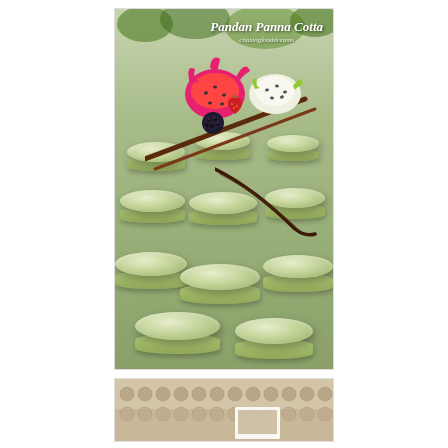[Figure (photo): Photo of multiple pandan panna cotta desserts (pale green, coin-shaped) arranged on a plate, garnished with dragon fruit, blackberry, and other tropical fruits. Title overlay reads 'Pandan Panna Cotta' with 'chasingfooddreams' below.]
[Figure (photo): Partial view of another food photo at the bottom of the page, showing what appears to be small round items arranged in rows.]